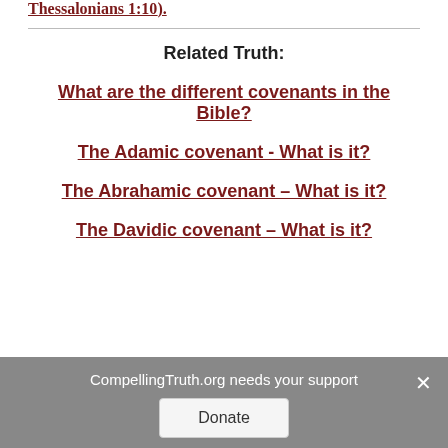Thessalonians 1:10).
Related Truth:
What are the different covenants in the Bible?
The Adamic covenant - What is it?
The Abrahamic covenant – What is it?
The Davidic covenant – What is it?
CompellingTruth.org needs your support  Donate